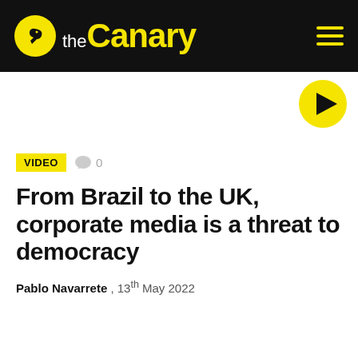the Canary
[Figure (logo): The Canary logo - yellow circle with bird silhouette, 'the' in white and 'Canary' in yellow bold text on black background]
[Figure (other): Yellow play button circle icon]
VIDEO  0
From Brazil to the UK, corporate media is a threat to democracy
Pablo Navarrete , 13th May 2022